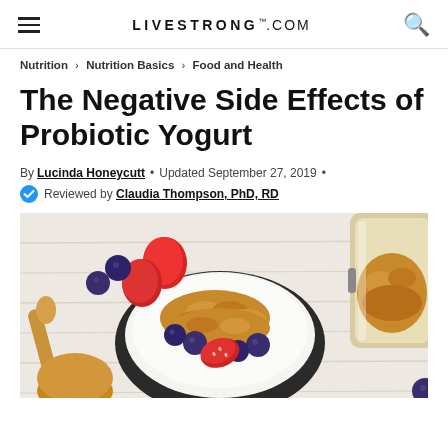LIVESTRONG.COM
Nutrition > Nutrition Basics > Food and Health
The Negative Side Effects of Probiotic Yogurt
By Lucinda Honeycutt • Updated September 27, 2019 •
Reviewed by Claudia Thompson, PhD, RD
[Figure (photo): Overhead view of a bowl of yogurt topped with granola, blueberries, and strawberry slices on a white wooden surface, with a wooden spoon and a glass jar of granola nearby.]